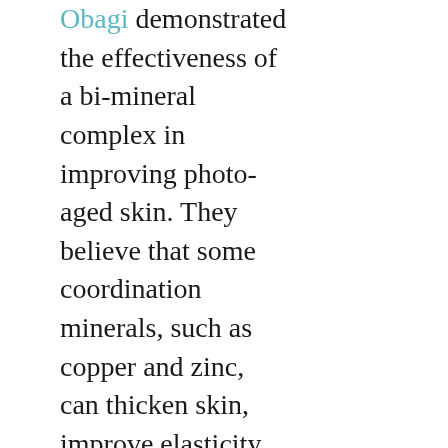Obagi demonstrated the effectiveness of a bi-mineral complex in improving photo-aged skin. They believe that some coordination minerals, such as copper and zinc, can thicken skin, improve elasticity, and increase the subcutaneous fat layer. I am surprised